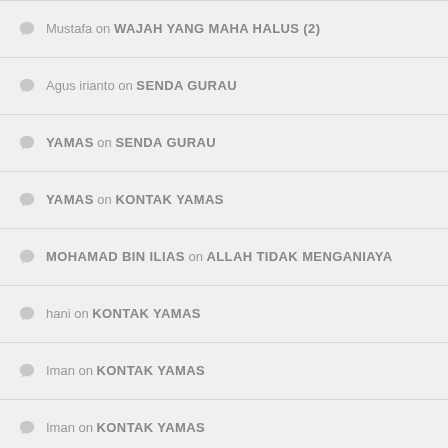Mustafa on WAJAH YANG MAHA HALUS (2)
Agus irianto on SENDA GURAU
YAMAS on SENDA GURAU
YAMAS on KONTAK YAMAS
MOHAMAD BIN ILIAS on ALLAH TIDAK MENGANIAYA
hani on KONTAK YAMAS
Iman on KONTAK YAMAS
Iman on KONTAK YAMAS
Iman on KONTAK YAMAS
Agus irianto on SENDA GURAU